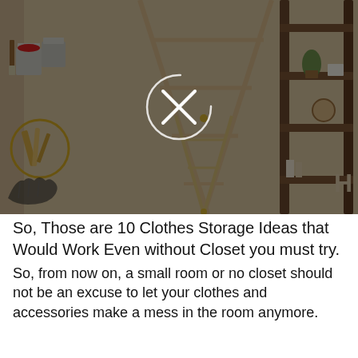[Figure (photo): A dark-overlaid composite image showing wooden ladder shelves, paint cans, an easel, decorative tools in a gold circle, and a hand gesture graphic. A circular close button with an X is centered over the image.]
So, Those are 10 Clothes Storage Ideas that Would Work Even without Closet you must try.
So, from now on, a small room or no closet should not be an excuse to let your clothes and accessories make a mess in the room anymore.